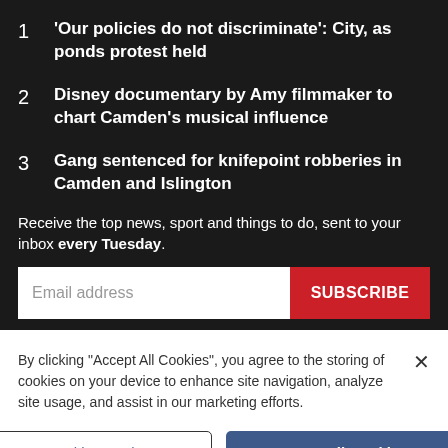1  'Our policies do not discriminate': City, as ponds protest held
2  Disney documentary by Amy filmmaker to chart Camden's musical influence
3  Gang sentenced for knifepoint robberies in Camden and Islington
Receive the top news, sport and things to do, sent to your inbox every Tuesday.
Email address
SUBSCRIBE
By clicking "Accept All Cookies", you agree to the storing of cookies on your device to enhance site navigation, analyze site usage, and assist in our marketing efforts.
Cookies Settings
Accept All Cookies